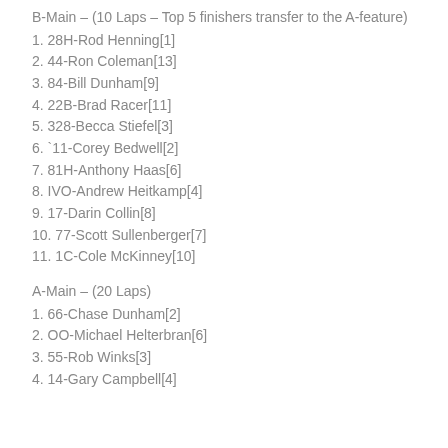B-Main – (10 Laps – Top 5 finishers transfer to the A-feature)
1. 28H-Rod Henning[1]
2. 44-Ron Coleman[13]
3. 84-Bill Dunham[9]
4. 22B-Brad Racer[11]
5. 328-Becca Stiefel[3]
6. `11-Corey Bedwell[2]
7. 81H-Anthony Haas[6]
8. IVO-Andrew Heitkamp[4]
9. 17-Darin Collin[8]
10. 77-Scott Sullenberger[7]
11. 1C-Cole McKinney[10]
A-Main – (20 Laps)
1. 66-Chase Dunham[2]
2. OO-Michael Helterbran[6]
3. 55-Rob Winks[3]
4. 14-Gary Campbell[4]